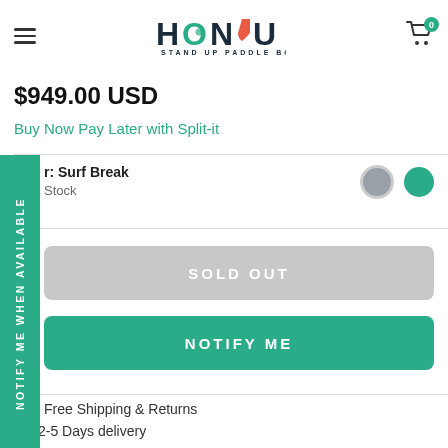HONU STAND UP PADDLE BOARDS
$949.00 USD
Buy Now Pay Later with Split-it
Color: Surf Break
Out of Stock
SOLD OUT
NOTIFY ME
NOTIFY ME WHEN AVAILABLE
Free Shipping & Returns
2-5 Days delivery